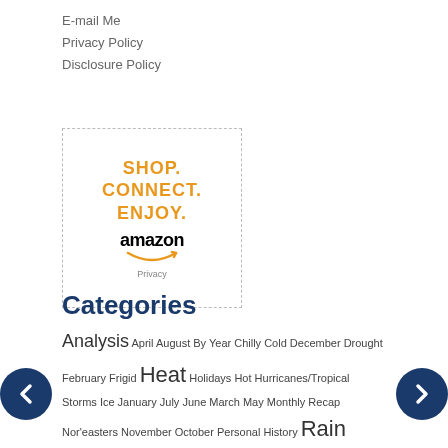E-mail Me
Privacy Policy
Disclosure Policy
[Figure (logo): Amazon advertisement box with text SHOP. CONNECT. ENJOY. in orange and amazon logo below, with Privacy label at bottom]
Categories
Analysis April August By Year Chilly Cold December Drought February Frigid Heat Holidays Hot Hurricanes/Tropical Storms Ice January July June March May Monthly Recap Nor'easters November October Personal History Rain Rainstorms September Snow Snowstorms Thunderstorms Warm